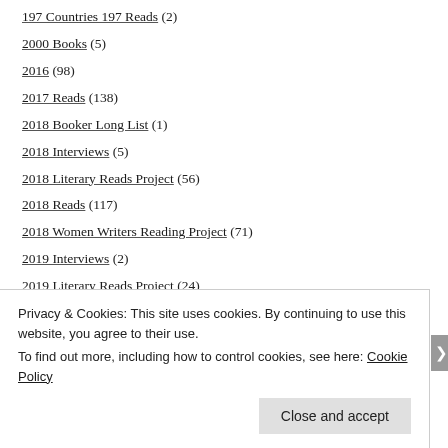197 Countries 197 Reads (2)
2000 Books (5)
2016 (98)
2017 Reads (138)
2018 Booker Long List (1)
2018 Interviews (5)
2018 Literary Reads Project (56)
2018 Reads (117)
2018 Women Writers Reading Project (71)
2019 Interviews (2)
2019 Literary Reads Project (24)
2019 Must-Read Essay Collections Project (4)
Privacy & Cookies: This site uses cookies. By continuing to use this website, you agree to their use. To find out more, including how to control cookies, see here: Cookie Policy
Close and accept